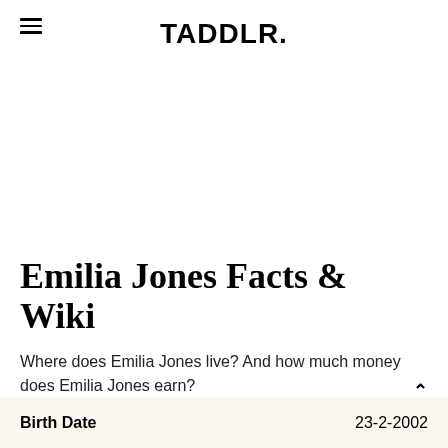TADDLR.
Emilia Jones Facts & Wiki
Where does Emilia Jones live? And how much money does Emilia Jones earn?
| Birth Date |  | 23-2-2002 |
| --- | --- | --- |